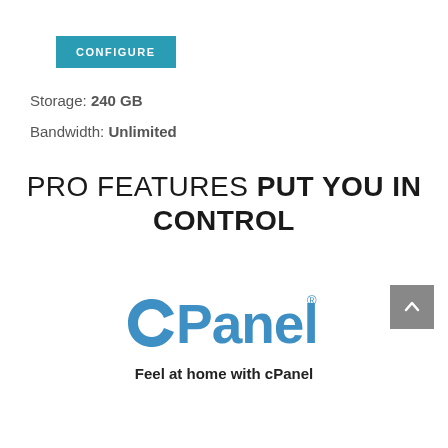[Figure (other): CONFIGURE button, teal/blue background with white text]
Storage: 240 GB
Bandwidth: Unlimited
PRO FEATURES PUT YOU IN CONTROL
[Figure (logo): cPanel logo in blue]
Feel at home with cPanel